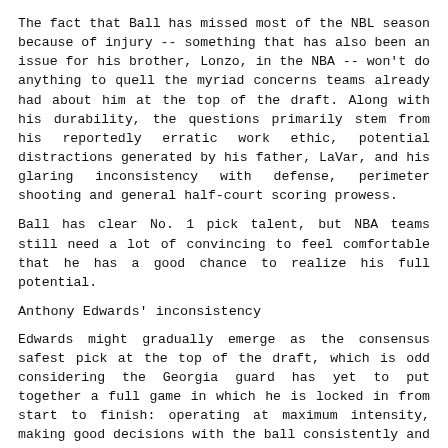The fact that Ball has missed most of the NBL season because of injury -- something that has also been an issue for his brother, Lonzo, in the NBA -- won't do anything to quell the myriad concerns teams already had about him at the top of the draft. Along with his durability, the questions primarily stem from his reportedly erratic work ethic, potential distractions generated by his father, LaVar, and his glaring inconsistency with defense, perimeter shooting and general half-court scoring prowess.
Ball has clear No. 1 pick talent, but NBA teams still need a lot of convincing to feel comfortable that he has a good chance to realize his full potential.
Anthony Edwards' inconsistency
Edwards might gradually emerge as the consensus safest pick at the top of the draft, which is odd considering the Georgia guard has yet to put together a full game in which he is locked in from start to finish: operating at maximum intensity, making good decisions with the ball consistently and finding ways to use his tremendous tools to make an impact on both ends of the floor.
The theoretical version of Edwards at his peak -- a long-armed, hyperathletic, multipositional guard who can dribble, pass, shoot and defend -- is far more enticing at the moment than what he has actually shown.